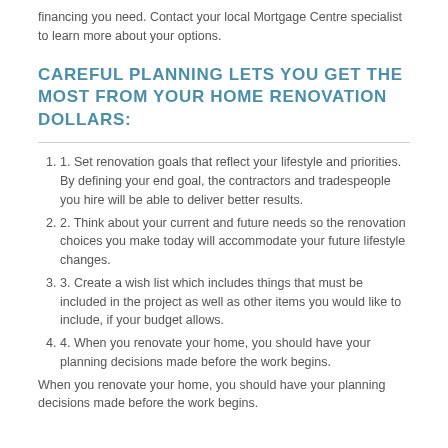financing you need. Contact your local Mortgage Centre specialist to learn more about your options.
CAREFUL PLANNING LETS YOU GET THE MOST FROM YOUR HOME RENOVATION DOLLARS:
1. Set renovation goals that reflect your lifestyle and priorities. By defining your end goal, the contractors and tradespeople you hire will be able to deliver better results.
2. Think about your current and future needs so the renovation choices you make today will accommodate your future lifestyle changes.
3. Create a wish list which includes things that must be included in the project as well as other items you would like to include, if your budget allows.
4. When you renovate your home, you should have your planning decisions made before the work begins.